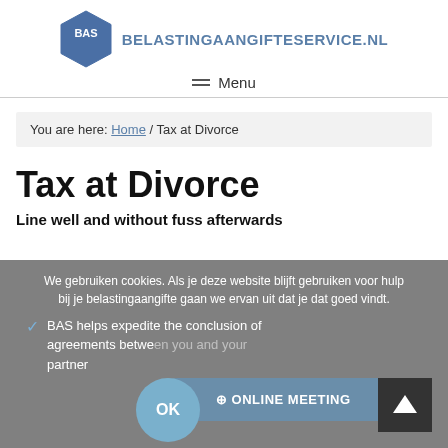[Figure (logo): BAS hexagon logo with text BELASTINGAANGIFTESERVICE.NL]
≡ Menu
You are here: Home / Tax at Divorce
Tax at Divorce
Line well and without fuss afterwards
We gebruiken cookies. Als je deze website blijft gebruiken voor hulp bij je belastingaangifte gaan we ervan uit dat je dat goed vindt.
BAS helps expedite the conclusion of agreements between you and your partner
OK
ONLINE MEETING